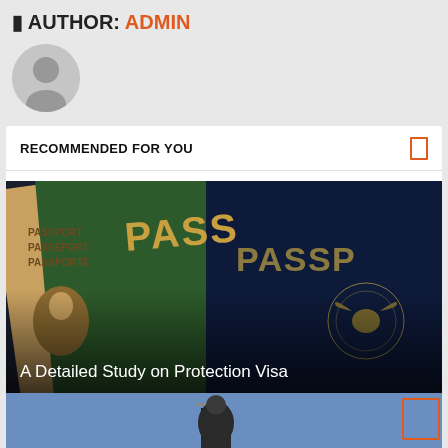AUTHOR: ADMIN
[Figure (illustration): Grey circle avatar/user profile icon]
RECOMMENDED FOR YOU
[Figure (photo): Multiple passports fanned out showing covers with text PASSPORT, PASSEPORT, PASAPORTE in green and dark blue/black, with gold embossed eagle emblem. Article title overlay: A Detailed Study on Protection Visa]
A Detailed Study on Protection Visa
[Figure (photo): Statue of Justice holding sword against blue sky, partially visible at bottom of page]